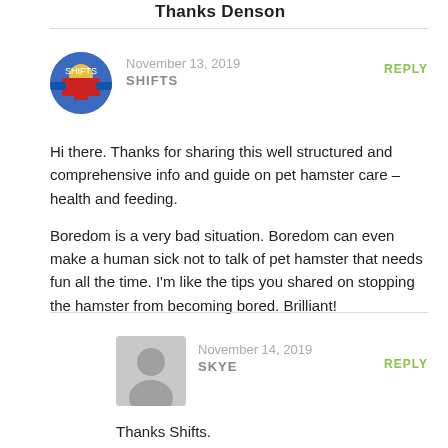Thanks Denson
November 13, 2019
SHIFTS
REPLY
Hi there. Thanks for sharing this well structured and comprehensive info and guide on pet hamster care – health and feeding.

Boredom is a very bad situation. Boredom can even make a human sick not to talk of pet hamster that needs fun all the time. I'm like the tips you shared on stopping the hamster from becoming bored. Brilliant!
November 14, 2019
SKYE
REPLY
Thanks Shifts.